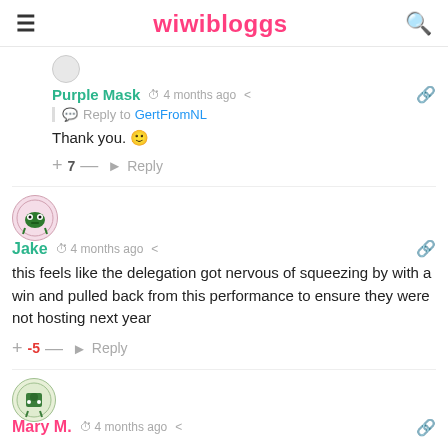wiwibloggs
Purple Mask  4 months ago
Reply to GertFromNL
Thank you. 🙂
+7 — Reply
Jake  4 months ago
this feels like the delegation got nervous of squeezing by with a win and pulled back from this performance to ensure they were not hosting next year
+-5 — Reply
Mary M.  4 months ago